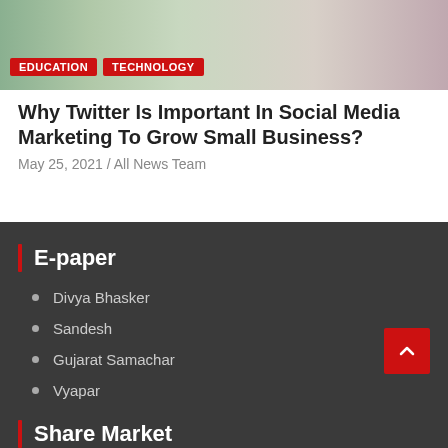[Figure (photo): Partial photo visible at top, showing hands or person, with green and pink tones]
EDUCATION   TECHNOLOGY
Why Twitter Is Important In Social Media Marketing To Grow Small Business?
May 25, 2021 / All News Team
E-paper
Divya Bhasker
Sandesh
Gujarat Samachar
Vyapar
Share Market
BSE